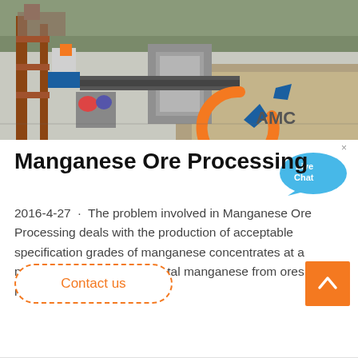[Figure (photo): Industrial mining/ore processing site with machinery, conveyor belts, concrete structures, and an AMC logo overlay. Construction equipment visible on left, large machinery in center, stockpile in background.]
Manganese Ore Processing
2016-4-27 · The problem involved in Manganese Ore Processing deals with the production of acceptable specification grades of manganese concentrates at a maximum recovery of the total manganese from ores having variable …
Contact us